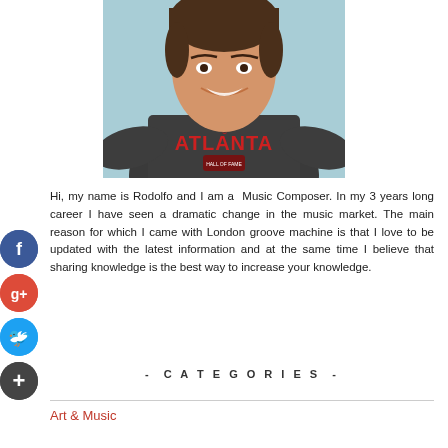[Figure (photo): A young man smiling, wearing a dark gray Under Armour Atlanta sweatshirt, taking a selfie against a light blue-gray background.]
Hi, my name is Rodolfo and I am a  Music Composer. In my 3 years long career I have seen a dramatic change in the music market. The main reason for which I came with London groove machine is that I love to be updated with the latest information and at the same time I believe that sharing knowledge is the best way to increase your knowledge.
- CATEGORIES -
Art & Music